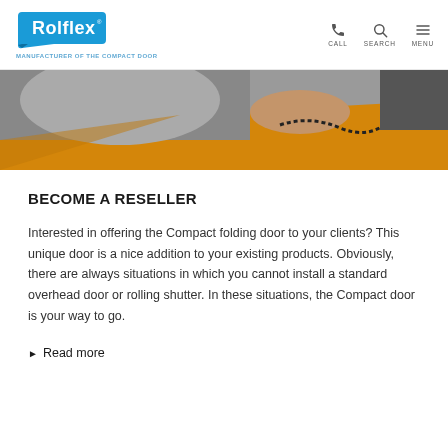Rolflex - MANUFACTURER OF THE COMPACT DOOR | CALL SEARCH MENU
[Figure (photo): Partial photo of a person working at a desk with an orange surface, visible hands and phone cord, showing bottom portion of the image]
BECOME A RESELLER
Interested in offering the Compact folding door to your clients? This unique door is a nice addition to your existing products. Obviously, there are always situations in which you cannot install a standard overhead door or rolling shutter. In these situations, the Compact door is your way to go.
▶ Read more